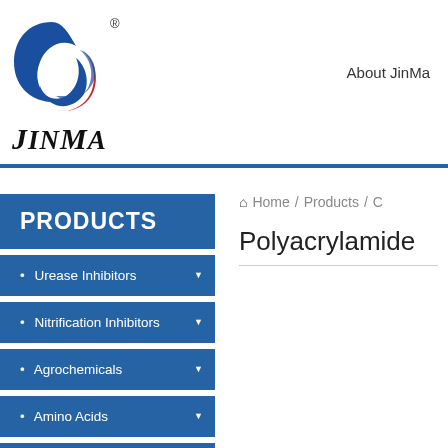[Figure (logo): JinMa company logo with blue and red circular swoosh symbol and JinMa text in italic serif font]
About JinMa
PRODUCTS
Urease Inhibitors
Nitrification Inhibitors
Agrochemicals
Amino Acids
Other Products
Home / Products / C
Polyacrylamide